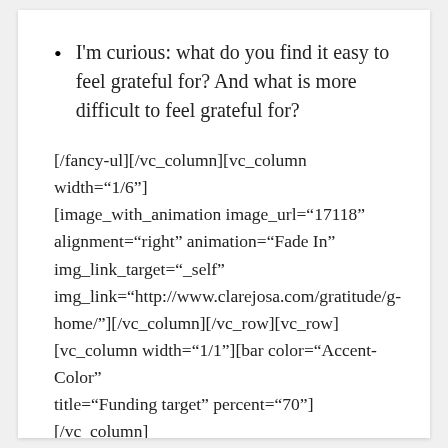I'm curious: what do you find it easy to feel grateful for? And what is more difficult to feel grateful for?
[/fancy-ul][/vc_column][vc_column width="1/6"][image_with_animation image_url="17118" alignment="right" animation="Fade In" img_link_target="_self" img_link="http://www.clarejosa.com/gratitude/g-home/"][/vc_column][/vc_row][vc_row][vc_column width="1/1"][bar color="Accent-Color" title="Funding target" percent="70"][/vc_column][/vc_row]